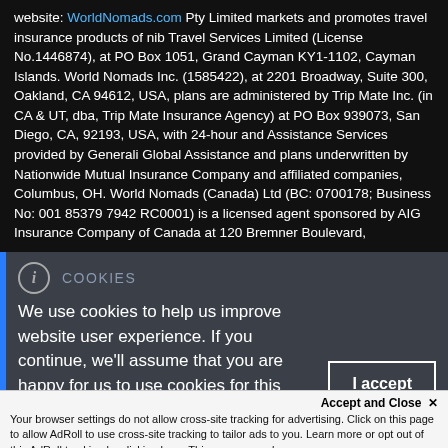website: WorldNomads.com Pty Limited markets and promotes travel insurance products of nib Travel Services Limited (License No.1446874), at PO Box 1051, Grand Cayman KY1-1102, Cayman Islands. World Nomads Inc. (1585422), at 2201 Broadway, Suite 300, Oakland, CA 94612, USA, plans are administered by Trip Mate Inc. (in CA & UT, dba, Trip Mate Insurance Agency) at PO Box 939073, San Diego, CA, 92193, USA, with 24-hour and Assistance Services provided by Generali Global Assistance and plans underwritten by Nationwide Mutual Insurance Company and affiliated companies, Columbus, OH. World Nomads (Canada) Ltd (BC: 0700178; Business No: 001 85379 7942 RC0001) is a licensed agent sponsored by AIG Insurance Company of Canada at 120 Bremner Boulevard,
COOKIES
We use cookies to help us improve website user experience. If you continue, we'll assume that you are happy for us to use cookies for this
I accept
Accept and Close ✕
Your browser settings do not allow cross-site tracking for advertising. Click on this page to allow AdRoll to use cross-site tracking to tailor ads to you. Learn more or opt out of this AdRoll tracking by clicking here. This message only appears once.